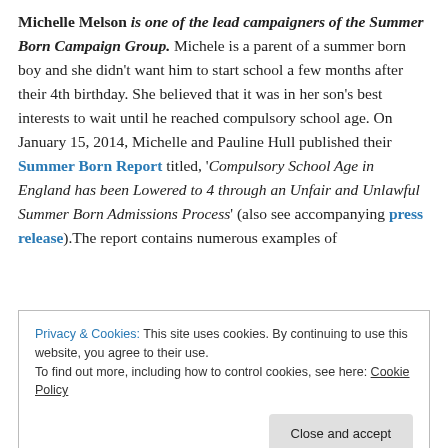Michelle Melson is one of the lead campaigners of the Summer Born Campaign Group. Michele is a parent of a summer born boy and she didn't want him to start school a few months after their 4th birthday. She believed that it was in her son's best interests to wait until he reached compulsory school age. On January 15, 2014, Michelle and Pauline Hull published their Summer Born Report titled, 'Compulsory School Age in England has been Lowered to 4 through an Unfair and Unlawful Summer Born Admissions Process' (also see accompanying press release).The report contains numerous examples of
Privacy & Cookies: This site uses cookies. By continuing to use this website, you agree to their use. To find out more, including how to control cookies, see here: Cookie Policy
and detailed Admissions History; plus, examples of